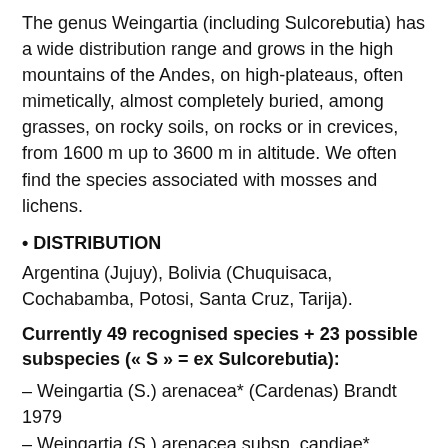The genus Weingartia (including Sulcorebutia) has a wide distribution range and grows in the high mountains of the Andes, on high-plateaus, often mimetically, almost completely buried, among grasses, on rocky soils, on rocks or in crevices, from 1600 m up to 3600 m in altitude. We often find the species associated with mosses and lichens.
• DISTRIBUTION
Argentina (Jujuy), Bolivia (Chuquisaca, Cochabamba, Potosi, Santa Cruz, Tarija).
Currently 49 recognised species + 23 possible subspecies (≪ S ≫ = ex Sulcorebutia):
– Weingartia (S.) arenacea* (Cardenas) Brandt 1979
– Weingartia (S.) arenacea subsp. candiae* (Cardenas) J.Lode 2013
– Weingartia (S.) arenacea subsp. kamiensis (Brederoo & Donald) J.Lode 2013